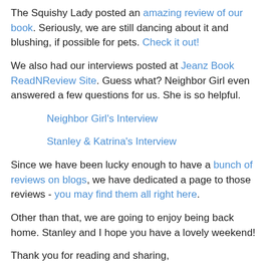The Squishy Lady posted an amazing review of our book. Seriously, we are still dancing about it and blushing, if possible for pets. Check it out!
We also had our interviews posted at Jeanz Book ReadNReview Site. Guess what? Neighbor Girl even answered a few questions for us. She is so helpful.
Neighbor Girl's Interview
Stanley & Katrina's Interview
Since we have been lucky enough to have a bunch of reviews on blogs, we have dedicated a page to those reviews - you may find them all right here.
Other than that, we are going to enjoy being back home. Stanley and I hope you have a lovely weekend!
Thank you for reading and sharing,